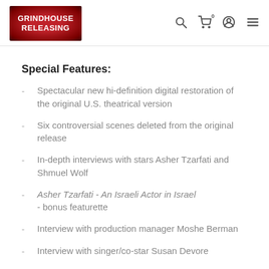Grindhouse Releasing — navigation bar with logo, search, cart, account, menu icons
Special Features:
Spectacular new hi-definition digital restoration of the original U.S. theatrical version
Six controversial scenes deleted from the original release
In-depth interviews with stars Asher Tzarfati and Shmuel Wolf
Asher Tzarfati - An Israeli Actor in Israel - bonus featurette
Interview with production manager Moshe Berman
Interview with singer/co-star Susan Devore